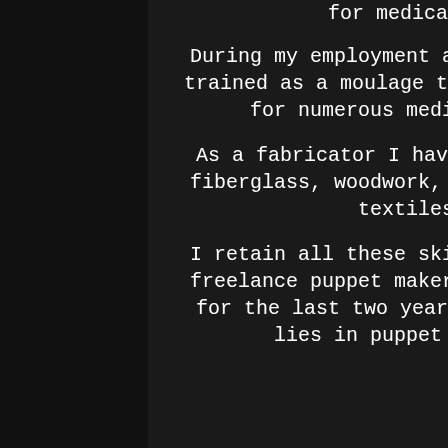for medical training purposes.
During my employment as a Silicone Specialist, I have trained as a moulage technician and created casualties for numerous medical emergency simulations.
As a fabricator I have experience with mould making, fiberglass, woodwork, welding, sculpture, scenic art, textiles and mixed-media.
I retain all these skills, and have been working as a freelance puppet maker and artist outside of my 9 - 5 for the last two years. My primary artistic interest lies in puppet design and construction.